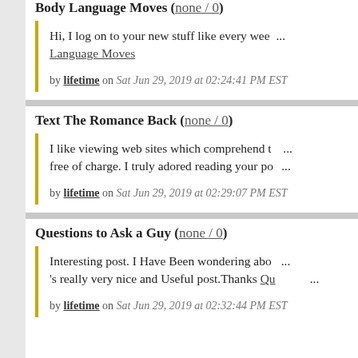Body Language Moves (none / 0)
Hi, I log on to your new stuff like every week. Your humoristic style is witty, keep doing what you're doing! Body Language Moves
by lifetime on Sat Jun 29, 2019 at 02:24:41 PM EST
Text The Romance Back (none / 0)
I like viewing web sites which comprehend the price of delivering the excellent useful resource free of charge. I truly adored reading your po...
by lifetime on Sat Jun 29, 2019 at 02:29:07 PM EST
Questions to Ask a Guy (none / 0)
Interesting post. I Have Been wondering about this issue, so thanks for posting. It 's really very nice and Useful post.Thanks Qu...
by lifetime on Sat Jun 29, 2019 at 02:32:44 PM EST